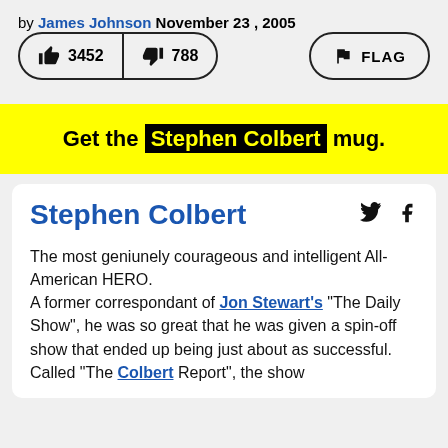by James Johnson November 23, 2005
[Figure (other): Thumbs up vote button showing 3452, thumbs down vote button showing 788, and FLAG button]
Get the Stephen Colbert mug.
Stephen Colbert
The most geniunely courageous and intelligent All-American HERO.
A former correspondant of Jon Stewart's "The Daily Show", he was so great that he was given a spin-off show that ended up being just about as successful. Called "The Colbert Report", the show